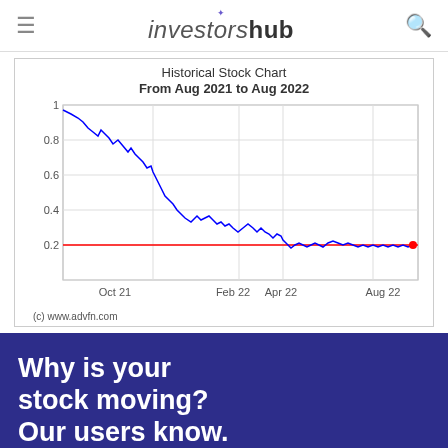investorshub
[Figure (continuous-plot): Line chart showing stock price declining from ~1.0 in Aug 2021 to ~0.2 by Aug 2022, with x-axis labels Oct 21, Feb 22, Apr 22, Aug 22 and y-axis values 0.2, 0.4, 0.6, 0.8, 1. A red horizontal line near 0.2 marks a support/reference level. Red dot at end of the line near Aug 22 at ~0.2.]
(c) www.advfn.com
Why is your stock moving? Our users know.